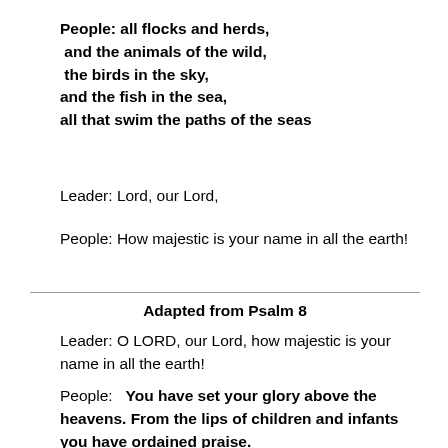People: all flocks and herds,
 and the animals of the wild,
 the birds in the sky,
and the fish in the sea,
all that swim the paths of the seas
Leader: Lord, our Lord,
People: How majestic is your name in all the earth!
Adapted from Psalm 8
Leader: O LORD, our Lord, how majestic is your name in all the earth!
People:   You have set your glory above the heavens. From the lips of children and infants you have ordained praise.